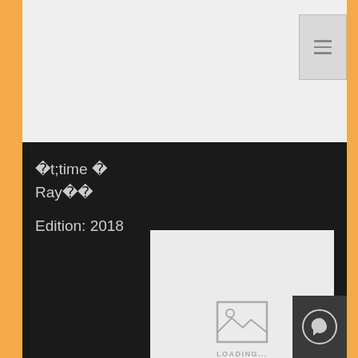[Figure (screenshot): Website/app UI screenshot showing a menu button in top right, dark background section with partial title text and edition year, and an image loading placeholder with 'LOADING...' text]
time 
Ray
Edition: 2018
[Figure (other): Image loading placeholder with mountain/photo icon and 'LOADING...' text below]